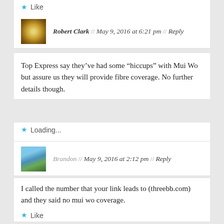Like
Robert Clark // May 9, 2016 at 6:21 pm // Reply
Top Express say they've had some “hiccups” with Mui Wo but assure us they will provide fibre coverage. No further details though.
Loading...
Brandon // May 9, 2016 at 2:12 pm // Reply
I called the number that your link leads to (threebb.com) and they said no mui wo coverage.
Like